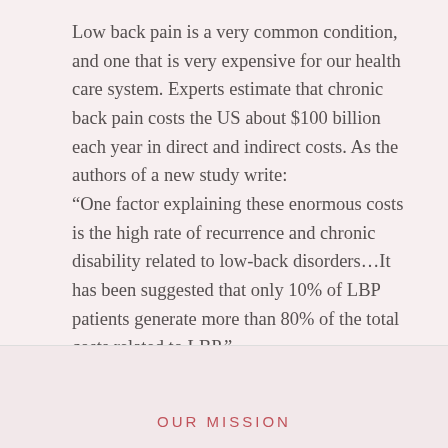Low back pain is a very common condition, and one that is very expensive for our health care system. Experts estimate that chronic back pain costs the US about $100 billion each year in direct and indirect costs. As the authors of a new study write: “One factor explaining these enormous costs is the high rate of recurrence and chronic disability related to low-back disorders…It has been suggested that only 10% of LBP patients generate more than 80% of the total costs related to LBP.”
OUR MISSION